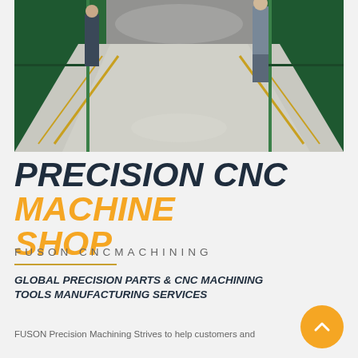[Figure (photo): Interior of a CNC manufacturing facility showing rows of large green CNC machines on both sides of a concrete factory floor, with workers visible, under warehouse lighting. Yellow safety lines visible on the floor.]
PRECISION CNC MACHINE SHOP
FUSON CNCMACHINING
GLOBAL PRECISION PARTS & CNC MACHINING TOOLS MANUFACTURING SERVICES
FUSON Precision Machining Strives to help customers and